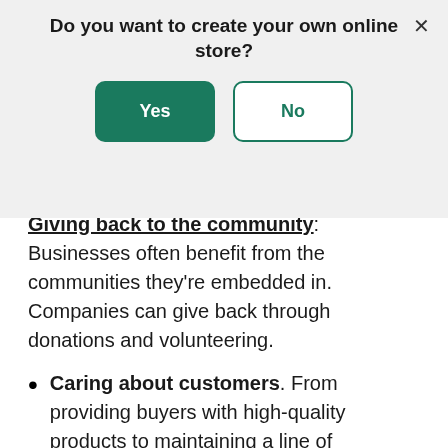[Figure (screenshot): Modal dialog asking 'Do you want to create your own online store?' with a green 'Yes' button and an outlined 'No' button, plus an X close button in the top right corner.]
Giving back to the community: Businesses often benefit from the communities they're embedded in. Companies can give back through donations and volunteering.
Caring about customers. From providing buyers with high-quality products to maintaining a line of communication with customers, businesses can prioritize the customer experience.
Often, these brand values are compelling to consumers, too. Fifty-two percent of global shoppers are more likely to purchase from a